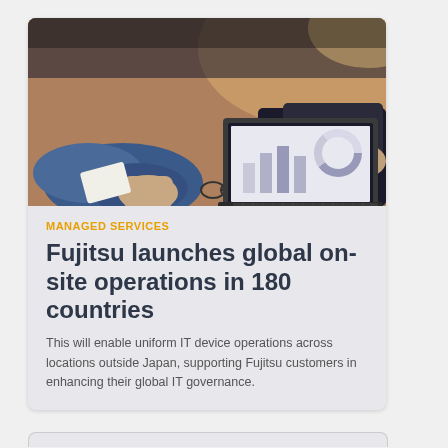[Figure (photo): Business meeting scene: people at a wooden table with a laptop showing charts/graphs on screen, hands visible, professional setting]
MANAGED SERVICES
Fujitsu launches global on-site operations in 180 countries
This will enable uniform IT device operations across locations outside Japan, supporting Fujitsu customers in enhancing their global IT governance.